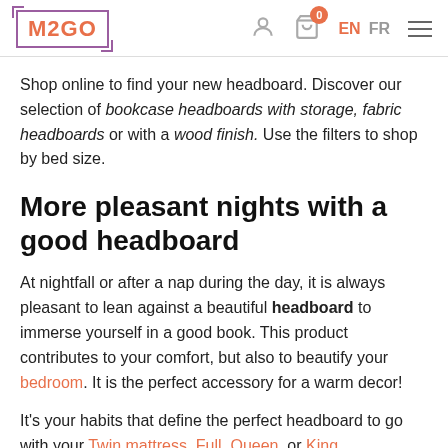M2GO — EN FR navigation header
Shop online to find your new headboard. Discover our selection of bookcase headboards with storage, fabric headboards or with a wood finish. Use the filters to shop by bed size.
More pleasant nights with a good headboard
At nightfall or after a nap during the day, it is always pleasant to lean against a beautiful headboard to immerse yourself in a good book. This product contributes to your comfort, but also to beautify your bedroom. It is the perfect accessory for a warm decor!
It's your habits that define the perfect headboard to go with your Twin mattress, Full, Queen, or King...